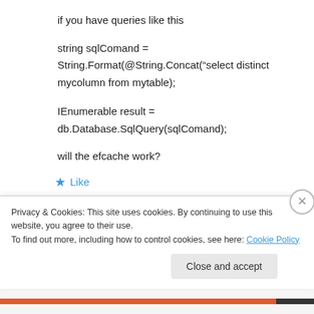if you have queries like this
string sqlComand =
String.Format(@String.Concat(“select distinct mycolumn from mytable);
IEnumerable result =
db.Database.SqlQuery(sqlComand);
will the efcache work?
★ Like
Privacy & Cookies: This site uses cookies. By continuing to use this website, you agree to their use.
To find out more, including how to control cookies, see here: Cookie Policy
Close and accept